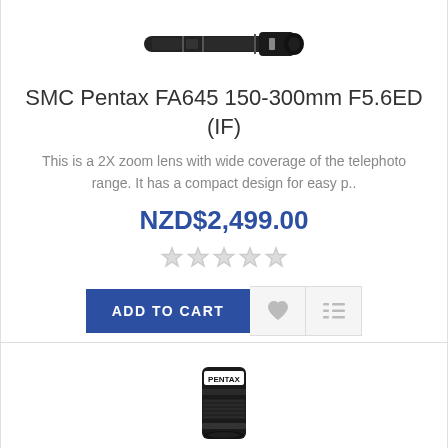[Figure (photo): SMC Pentax FA645 150-300mm telephoto zoom lens, horizontal orientation, black]
SMC Pentax FA645 150-300mm F5.6ED (IF)
This is a 2X zoom lens with wide coverage of the telephoto range. It has a compact design for easy p..
NZD$2,499.00
[Figure (other): 5 empty grey star rating icons]
[Figure (other): Add to Cart button, heart icon button, list icon button]
[Figure (photo): SMC Pentax FA645 150mm F2.8 lens, vertical orientation, black with PENTAX label]
SMC Pentax FA645 150mm F2.8